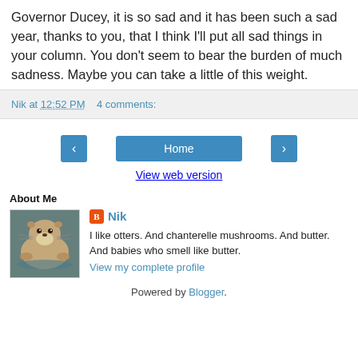Governor Ducey, it is so sad and it has been such a sad year, thanks to you, that I think I'll put all sad things in your column. You don't seem to bear the burden of much sadness. Maybe you can take a little of this weight.
Nik at 12:52 PM    4 comments:
‹  Home  ›
View web version
About Me
[Figure (photo): Photo of a sea otter floating on water, fluffy and cute]
Nik
I like otters. And chanterelle mushrooms. And butter. And babies who smell like butter.
View my complete profile
Powered by Blogger.